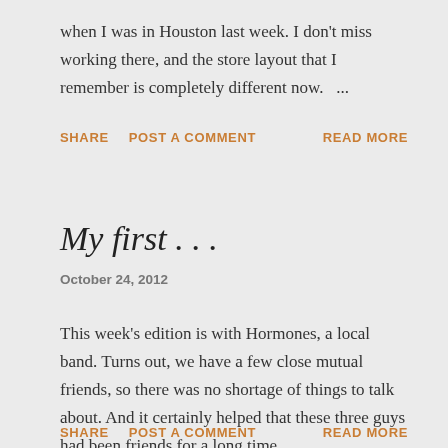when I was in Houston last week. I don't miss working there, and the store layout that I remember is completely different now. ...
SHARE   POST A COMMENT   READ MORE
My first . . .
October 24, 2012
This week's edition is with Hormones, a local band. Turns out, we have a few close mutual friends, so there was no shortage of things to talk about. And it certainly helped that these three guys had been friends for a long time.
SHARE   POST A COMMENT   READ MORE